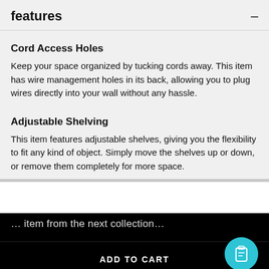features
Cord Access Holes
Keep your space organized by tucking cords away. This item has wire management holes in its back, allowing you to plug wires directly into your wall without any hassle.
Adjustable Shelving
This item features adjustable shelves, giving you the flexibility to fit any kind of object. Simply move the shelves up or down, or remove them completely for more space.
ADD TO CART